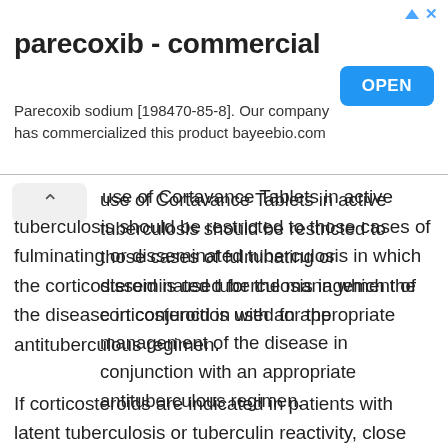[Figure (other): Advertisement banner for parecoxib - commercial product. Shows title 'parecoxib - commercial', subtitle 'Parecoxib sodium [198470-85-8]. Our company has commercialized this product bayeebio.com', and a blue OPEN button. Has triangle and X icons at top right.]
use of Cortavance Tablets in active tuberculosis should be restricted to those cases of fulminating or disseminated tuberculosis in which the corticosteroid is used for the management of the disease in conjunction with an appropriate antituberculous regimen.
If corticosteroids are indicated in patients with latent tuberculosis or tuberculin reactivity, close observation is necessary as reactivation of the disease may occur. During prolonged corticosteroid therapy, these patients should receive chemoprophylaxis.
Persons who are on drugs which suppress the